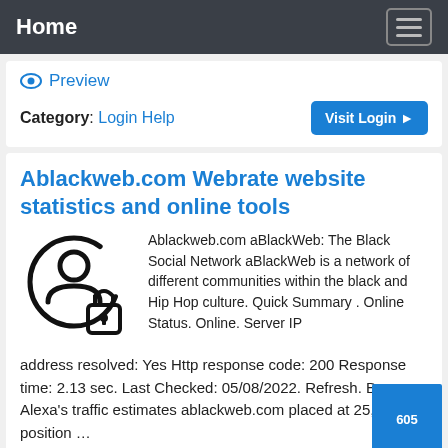Home
Preview
Category: Login Help
Ablackweb.com Webrate website statistics and online tools
[Figure (illustration): User profile silhouette with a padlock icon, black line art on white background]
Ablackweb.com aBlackWeb: The Black Social Network aBlackWeb is a network of different communities within the black and Hip Hop culture. Quick Summary . Online Status. Online. Server IP address resolved: Yes Http response code: 200 Response time: 2.13 sec. Last Checked: 05/08/2022. Refresh. By Alexa's traffic estimates ablackweb.com placed at 25, position …